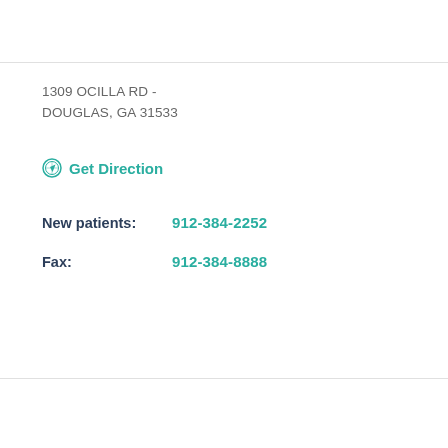1309 OCILLA RD -
DOUGLAS, GA 31533
Get Direction
New patients:  912-384-2252
Fax:  912-384-8888